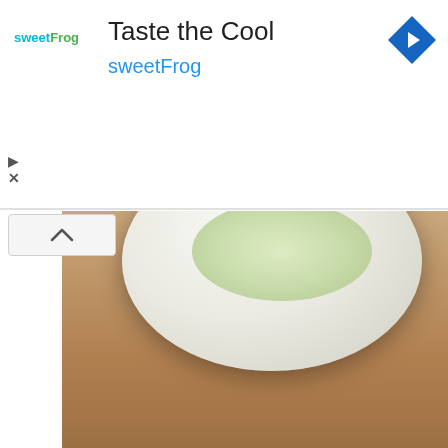[Figure (screenshot): Advertisement banner for sweetFrog frozen yogurt. White background with sweetFrog logo on left, title 'Taste the Cool', blue subtitle 'sweetFrog', and a blue diamond-shaped navigation arrow icon on the right. Play and close (X) icons visible on the left side below logo.]
[Figure (photo): Top portion of a food photo showing a white bowl with noodles or salad on a wooden table surface, partially obscured by the ad banner above and a collapse button (chevron up) overlay.]
[Figure (photo): Overhead flat-lay food photo showing Korean BBQ or hot pot spread: a black bowl with raw sliced meat, multiple small white bowls with various side dishes (kimchi, sauces, vegetables, cream), a wooden cutting board with bacon strips, several small cups/glasses, chopsticks, a spoon, and a watermark 'Taufulou' in the upper right area.]